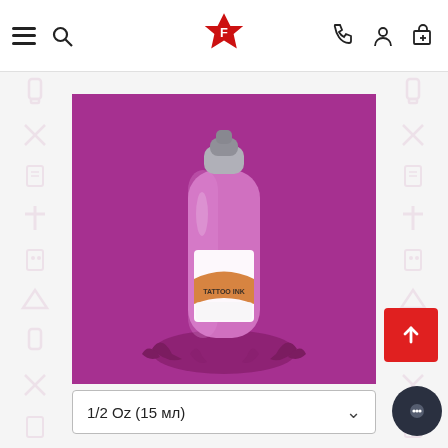Navigation bar with menu, search, logo, phone, account, cart icons
[Figure (photo): World Famous Tattoo Ink bottle of Ryan Smith Foxglove color (purple/magenta) on a purple background with ink splash at the bottom]
World Famous Ryan Smith Foxglove
1/2 Oz (15 мл)